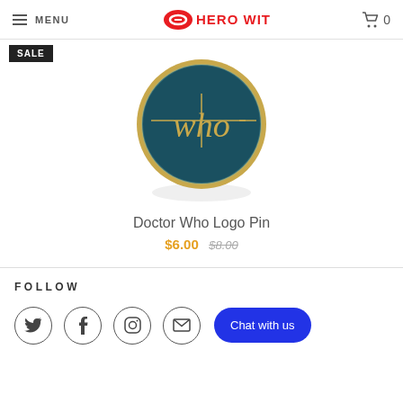MENU | HERO WITHIN | Cart 0
[Figure (photo): Doctor Who Logo Pin product image - circular teal/dark green pin with gold 'who' script lettering and gold border, shown on white background. SALE badge in black at top left.]
Doctor Who Logo Pin
$6.00 $8.00
FOLLOW - Twitter, Facebook, Instagram, Email social icons. Chat with us button.